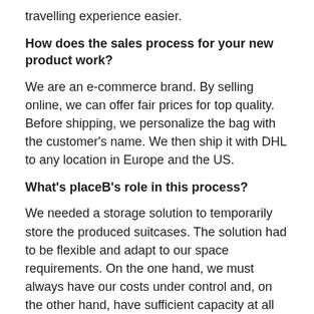travelling experience easier.
How does the sales process for your new product work?
We are an e-commerce brand. By selling online, we can offer fair prices for top quality. Before shipping, we personalize the bag with the customer's name. We then ship it with DHL to any location in Europe and the US.
What's placeB's role in this process?
We needed a storage solution to temporarily store the produced suitcases. The solution had to be flexible and adapt to our space requirements. On the one hand, we must always have our costs under control and, on the other hand, have sufficient capacity at all times to increase inventories. The advantage of placeB is the good accessibility f for large trucks, docking areas to unload containers, large lifts, etc.